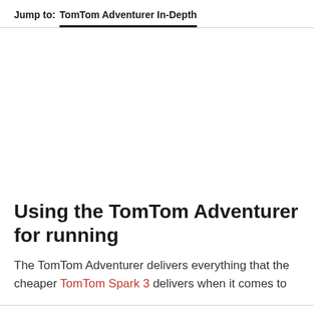Jump to:  TomTom Adventurer In-Depth
Using the TomTom Adventurer for running
The TomTom Adventurer delivers everything that the cheaper TomTom Spark 3 delivers when it comes to